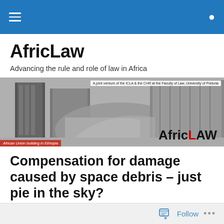AfricLaw navigation bar
AfricLaw
Advancing the rule and role of law in Africa
[Figure (photo): Banner image of African Union building in Ethiopia in black and white, with AfricLaw logo and tagline overlay]
Compensation for damage caused by space debris – just pie in the sky?
Follow